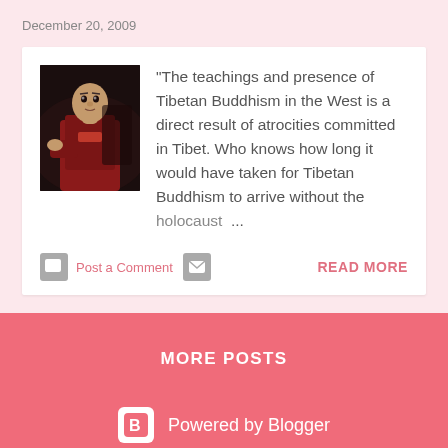December 20, 2009
[Figure (photo): A young Tibetan Buddhist monk in dark red robes, photographed in low light against a blurred background.]
"The teachings and presence of Tibetan Buddhism in the West is a direct result of atrocities committed in Tibet. Who knows how long it would have taken for Tibetan Buddhism to arrive without the holocaust ...
Post a Comment
READ MORE
MORE POSTS
Powered by Blogger
Theme images by badins